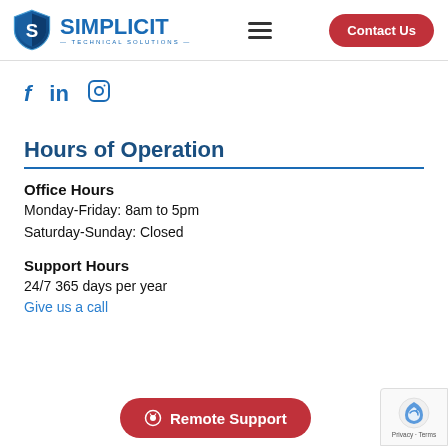[Figure (logo): SimplicitIT Technical Solutions logo with shield icon and 'Contact Us' button in navigation bar]
[Figure (infographic): Social media icons: Facebook (f), LinkedIn (in), Instagram (camera)]
Hours of Operation
Office Hours
Monday-Friday: 8am to 5pm
Saturday-Sunday: Closed
Support Hours
24/7 365 days per year
Give us a call
[Figure (infographic): Remote Support button (red pill button) and reCAPTCHA privacy badge in bottom right corner]